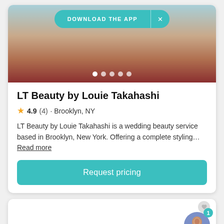[Figure (photo): Photo of a bride in traditional Indian wedding attire with jewelry and decorative background. A teal 'DOWNLOAD THE APP' banner with X button overlays the top of the image. Five white dot indicators are shown at the bottom of the image.]
LT Beauty by Louie Takahashi
★ 4.9 (4) · Brooklyn, NY
LT Beauty by Louie Takahashi is a wedding beauty service based in Brooklyn, New York. Offering a complete styling… Read more
Request pricing
[Figure (screenshot): Bottom portion of a second vendor card (white, partially visible). An avatar illustration of a woman in traditional attire is shown in the bottom-right corner with a notification badge showing '1'.]